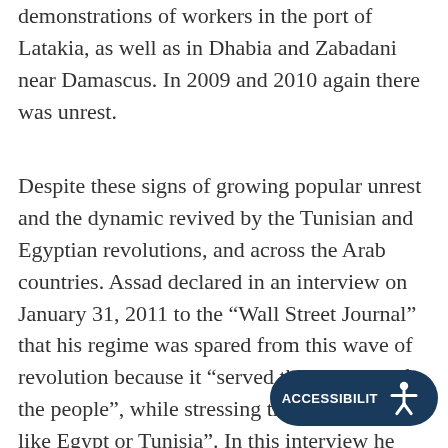demonstrations of workers in the port of Latakia, as well as in Dhabia and Zabadani near Damascus. In 2009 and 2010 again there was unrest.
Despite these signs of growing popular unrest and the dynamic revived by the Tunisian and Egyptian revolutions, and across the Arab countries. Assad declared in an interview on January 31, 2011 to the “Wall Street Journal” that his regime was spared from this wave of revolution because it “served the interests of the people”, while stressing that “Syria is not like Egypt or Tunisia”. In this interview he stated contemptuously